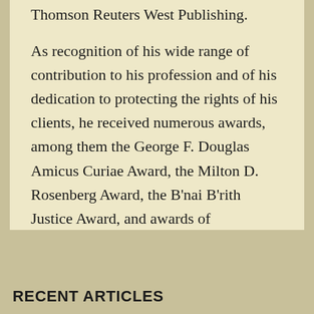Thomson Reuters West Publishing.
As recognition of his wide range of contribution to his profession and of his dedication to protecting the rights of his clients, he received numerous awards, among them the George F. Douglas Amicus Curiae Award, the Milton D. Rosenberg Award, the B'nai B'rith Justice Award, and awards of recognition from the Pennsylvania Trial Lawyers. [ Attorney Bio ]
RECENT ARTICLES